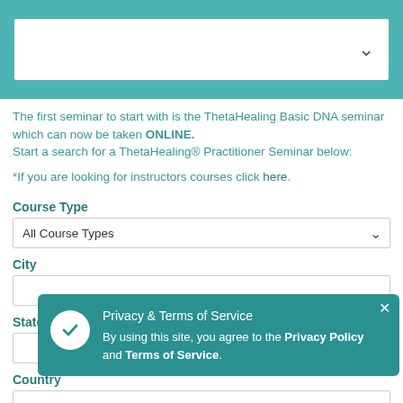[Figure (screenshot): Top dropdown widget with white background and down-arrow chevron on teal/green background]
The first seminar to start with is the ThetaHealing Basic DNA seminar which can now be taken ONLINE.
Start a search for a ThetaHealing® Practitioner Seminar below:
*If you are looking for instructors courses click here.
Course Type
| All Course Types |
City
|  |
State/Province/County
|  |
Country
|  |
Privacy & Terms of Service
By using this site, you agree to the Privacy Policy and Terms of Service.
Date